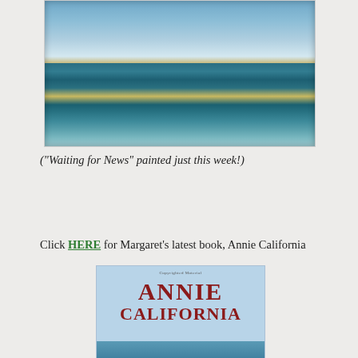[Figure (photo): A seascape painting titled 'Waiting for News' showing ocean waves with blue sky and turbulent teal and blue water with white foam highlights, painted on a canvas placed on a paint-splattered surface.]
("Waiting for News" painted just this week!)
Click HERE for Margaret's latest book, Annie California
[Figure (photo): Book cover for 'Annie California' with a light blue background, the title in large dark red serif letters, and a small illustrated scene at the bottom. Text at top reads 'Copyrighted Material'.]